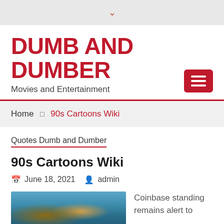▾
DUMB AND DUMBER
Movies and Entertainment
Home › 90s Cartoons Wiki
Quotes Dumb and Dumber
90s Cartoons Wiki
June 18, 2021  admin
[Figure (photo): Photo of two people on motorbikes/scooters]
Coinbase standing remains alert to